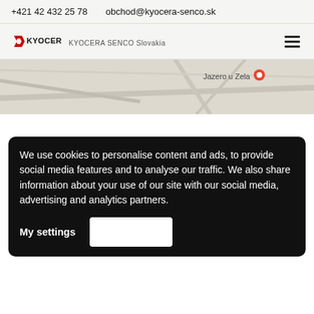+421 42 432 25 78   obchod@kyocera-senco.sk
[Figure (logo): Kyocera logo with text KYOCERA SENCO Slovakia and hamburger menu icon]
[Figure (map): Google Maps screenshot showing location near Jazero u Zela]
We use cookies to personalise content and ads, to provide social media features and to analyse our traffic. We also share information about your use of our site with our social media, advertising and analytics partners.
My settings